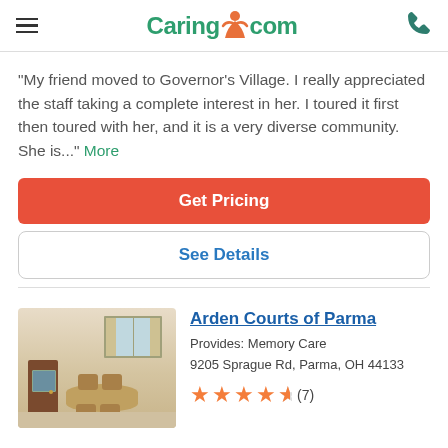Caring.com
"My friend moved to Governor's Village. I really appreciated the staff taking a complete interest in her. I toured it first then toured with her, and it is a very diverse community. She is..." More
Get Pricing
See Details
[Figure (photo): Interior photo of a dining room with round tables, chairs, curtained windows, and a door — warm cream/beige tones]
Arden Courts of Parma
Provides: Memory Care
9205 Sprague Rd, Parma, OH 44133
★★★★½ (7)